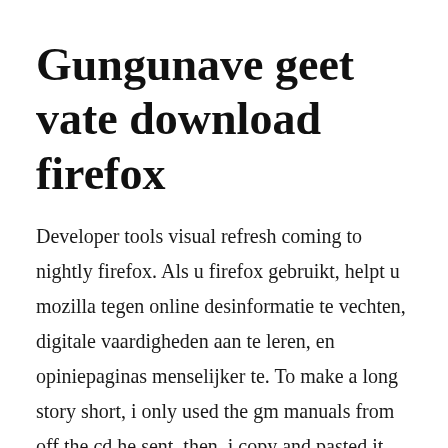Gungunave geet vate download firefox
Developer tools visual refresh coming to nightly firefox. Als u firefox gebruikt, helpt u mozilla tegen online desinformatie te vechten, digitale vaardigheden aan te leren, en opiniepaginas menselijker te. To make a long story short, i only used the gm manuals from off the cd he sent, then, i copy and pasted it